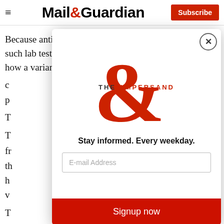Mail&Guardian | Subscribe
Because antibodies protect us against getting infected, such lab tests, called antibody titers, can only tell us how a variant influences our protection against
[Figure (screenshot): Mail & Guardian newsletter signup modal with The Ampersand logo, tagline 'Stay informed. Every weekday.', email input field, and 'Signup now' button]